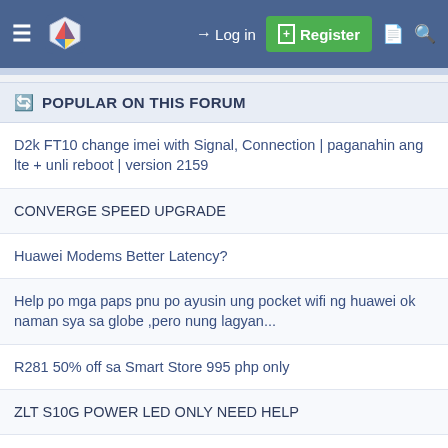Log in | Register
POPULAR ON THIS FORUM
D2k FT10 change imei with Signal, Connection | paganahin ang lte + unli reboot | version 2159
CONVERGE SPEED UPGRADE
Huawei Modems Better Latency?
Help po mga paps pnu po ayusin ung pocket wifi ng huawei ok naman sya sa globe ,pero nung lagyan...
R281 50% off sa Smart Store 995 php only
ZLT S10G POWER LED ONLY NEED HELP
Just ordered R291 from Smart (Lazada) . Magkamukha kasi sila ng B535-932 ng Globe.
Pa help po openline sa zlt s10g 2.10.1